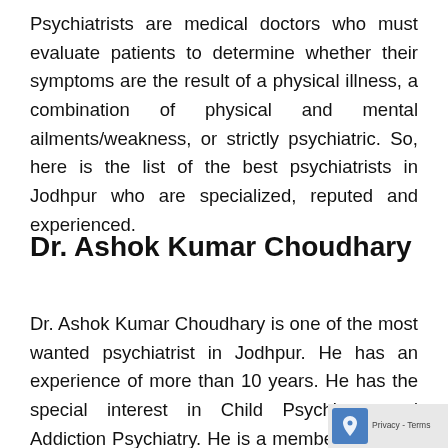Psychiatrists are medical doctors who must evaluate patients to determine whether their symptoms are the result of a physical illness, a combination of physical and mental ailments/weakness, or strictly psychiatric. So, here is the list of the best psychiatrists in Jodhpur who are specialized, reputed and experienced.
Dr. Ashok Kumar Choudhary
Dr. Ashok Kumar Choudhary is one of the most wanted psychiatrist in Jodhpur. He has an experience of more than 10 years. He has the special interest in Child Psychiatry and Addiction Psychiatry. He is a member of Indian Psychiatric Society and Indian Association of Private Psychiatry. He are his institution...